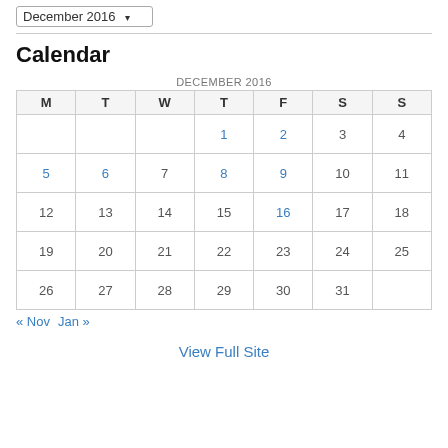December 2016 ▾
Calendar
| M | T | W | T | F | S | S |
| --- | --- | --- | --- | --- | --- | --- |
|  |  |  | 1 | 2 | 3 | 4 |
| 5 | 6 | 7 | 8 | 9 | 10 | 11 |
| 12 | 13 | 14 | 15 | 16 | 17 | 18 |
| 19 | 20 | 21 | 22 | 23 | 24 | 25 |
| 26 | 27 | 28 | 29 | 30 | 31 |  |
« Nov   Jan »
View Full Site